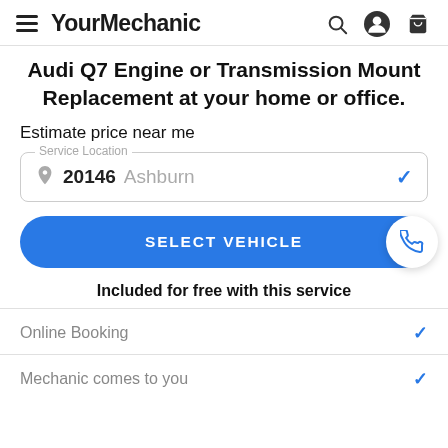YourMechanic
Audi Q7 Engine or Transmission Mount Replacement at your home or office.
Estimate price near me
Service Location — 20146 Ashburn
SELECT VEHICLE
Included for free with this service
Online Booking
Mechanic comes to you